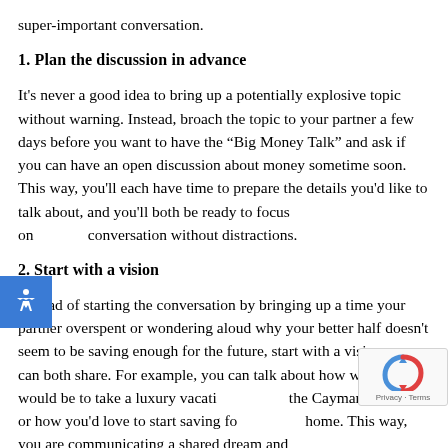super-important conversation.
1. Plan the discussion in advance
It's never a good idea to bring up a potentially explosive topic without warning. Instead, broach the topic to your partner a few days before you want to have the “Big Money Talk” and ask if you can have an open discussion about money sometime soon. This way, you'll each have time to prepare the details you'd like to talk about, and you'll both be ready to focus on conversation without distractions.
2. Start with a vision
Instead of starting the conversation by bringing up a time your partner overspent or wondering aloud why your better half doesn't seem to be saving enough for the future, start with a vision you can both share. For example, you can talk about how wonderful it would be to take a luxury vacation to the Cayman Islands, or how you'd love to start saving for a home. This way, you are communicating a shared dream and